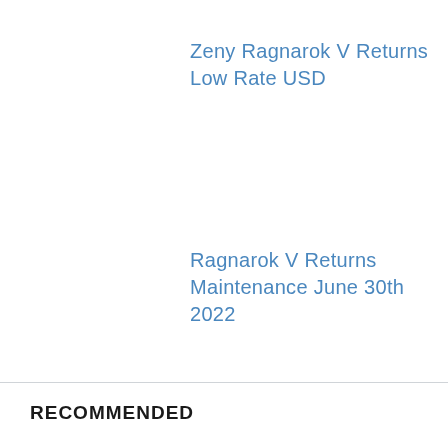Zeny Ragnarok V Returns Low Rate USD
Ragnarok V Returns Maintenance June 30th 2022
RECOMMENDED